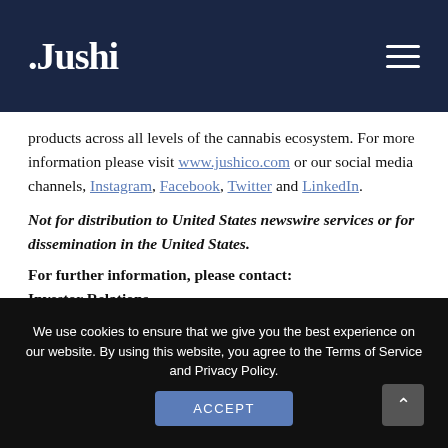.Jushi
products across all levels of the cannabis ecosystem. For more information please visit www.jushico.com or our social media channels, Instagram, Facebook, Twitter and LinkedIn.
Not for distribution to United States newswire services or for dissemination in the United States.
For further information, please contact:
Investor Relations
We use cookies to ensure that we give you the best experience on our website. By using this website, you agree to the Terms of Service and Privacy Policy.